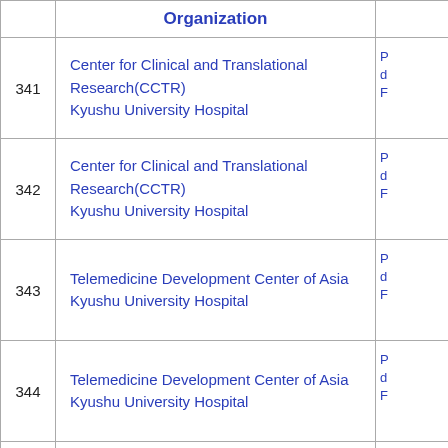|  | Organization |  |
| --- | --- | --- |
| 341 | Center for Clinical and Translational Research(CCTR)
Kyushu University Hospital | P
d
F |
| 342 | Center for Clinical and Translational Research(CCTR)
Kyushu University Hospital | P
d
F |
| 343 | Telemedicine Development Center of Asia
Kyushu University Hospital | P
d
F |
| 344 | Telemedicine Development Center of Asia
Kyushu University Hospital | P
d
F |
| 345 | Gastrointestinal Surgery (1)
Kyushu University Hospital | A
P
(a |
| 346 | Gastrointestinal Surgery (1) | A |